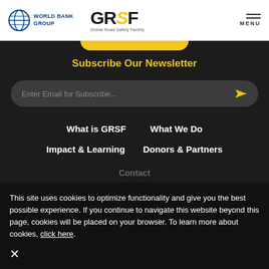WORLD BANK GROUP | GRSF Global Road Safety Facility | MENU
Subscribe Our Newsletter
Enter Email for Subscribe...
What is GRSF
What We Do
Impact & Learning
Donors & Partners
Contact
This site uses cookies to optimize functionality and give you the best possible experience. If you continue to navigate this website beyond this page, cookies will be placed on your browser. To learn more about cookies, click here.